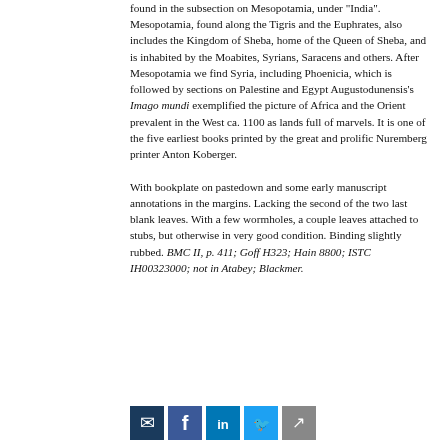found in the subsection on Mesopotamia, under "India". Mesopotamia, found along the Tigris and the Euphrates, also includes the Kingdom of Sheba, home of the Queen of Sheba, and is inhabited by the Moabites, Syrians, Saracens and others. After Mesopotamia we find Syria, including Phoenicia, which is followed by sections on Palestine and Egypt Augustodunensis's Imago mundi exemplified the picture of Africa and the Orient prevalent in the West ca. 1100 as lands full of marvels. It is one of the five earliest books printed by the great and prolific Nuremberg printer Anton Koberger. With bookplate on pastedown and some early manuscript annotations in the margins. Lacking the second of the two last blank leaves. With a few wormholes, a couple leaves attached to stubs, but otherwise in very good condition. Binding slightly rubbed. BMC II, p. 411; Goff H323; Hain 8800; ISTC IH00323000; not in Atabey; Blackmer.
[Figure (other): Social media sharing icons: email, Facebook, LinkedIn, Twitter, and another share icon]